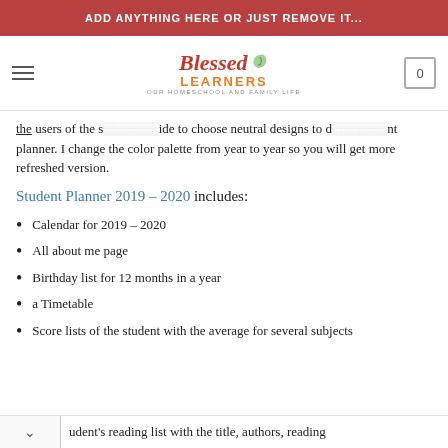ADD ANYTHING HERE OR JUST REMOVE IT...
[Figure (logo): Blessed Learners logo — 'Our Homeschool and Family Life' tagline, with hamburger menu and cart icon]
the users of the s... decide to choose neutral designs to d... ent planner. I change the color palette from year to year so you will get more refreshed version.
Student Planner 2019 – 2020 includes:
Calendar for 2019 – 2020
All about me page
Birthday list for 12 months in a year
a Timetable
Score lists of the student with the average for several subjects
udent's reading list with the title, authors, reading